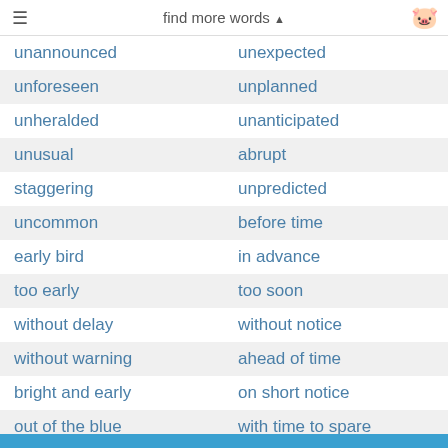find more words ▲
| unannounced | unexpected |
| unforeseen | unplanned |
| unheralded | unanticipated |
| unusual | abrupt |
| staggering | unpredicted |
| uncommon | before time |
| early bird | in advance |
| too early | too soon |
| without delay | without notice |
| without warning | ahead of time |
| bright and early | on short notice |
| out of the blue | with time to spare |
more synonyms like this ▼